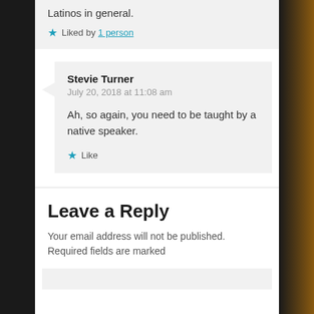Latinos in general.
Liked by 1 person
Stevie Turner
July 20, 2018 at 11:08 am
Ah, so again, you need to be taught by a native speaker.
Like
Leave a Reply
Your email address will not be published. Required fields are marked